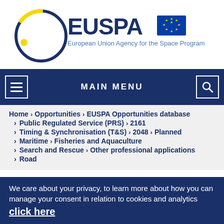[Figure (logo): EUSPA logo — European Union Agency for the Space Programme, with circular navy/yellow graphic and EU flag]
MAIN MENU
Home > Opportunities > EUSPA Opportunities database
> Public Regulated Service (PRS) > 2161
> Timing & Synchronisation (T&S) > 2048 > Planned
> Maritime > Fisheries and Aquaculture
> Search and Rescue > Other professional applications
> Road
We care about your privacy, to learn more about how you can manage your consent in relation to cookies and analytics click here